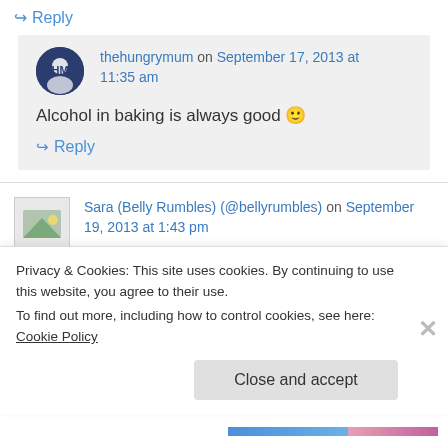↳ Reply
thehungrymum on September 17, 2013 at 11:35 am
Alcohol in baking is always good 🙂
↳ Reply
Sara (Belly Rumbles) (@bellyrumbles) on September 19, 2013 at 1:43 pm
Privacy & Cookies: This site uses cookies. By continuing to use this website, you agree to their use. To find out more, including how to control cookies, see here: Cookie Policy
Close and accept